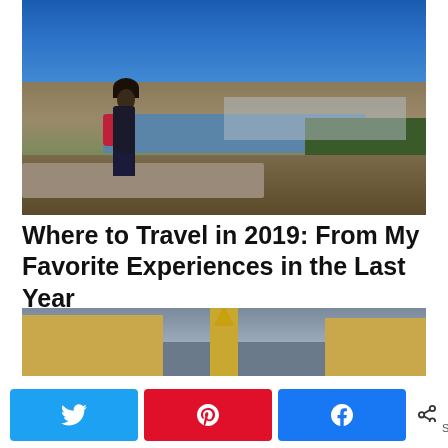[Figure (photo): Woman with red bag standing on rocks overlooking a river valley and city with mountains and blue sky in background]
Where to Travel in 2019: From My Favorite Experiences in the Last Year
[Figure (photo): Looking up at a golden church tower/steeple with ornate spire between yellow ochre buildings under a grey-blue sky]
0 SHARES
Twitter share button
Pinterest share button
Facebook share button